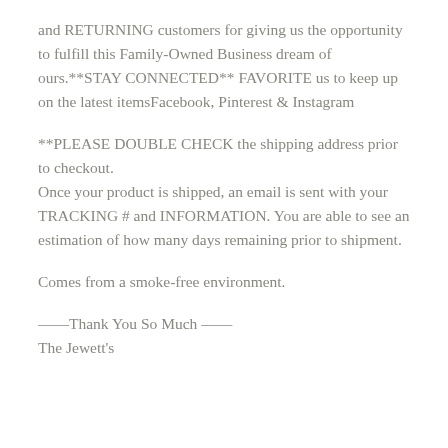and RETURNING customers for giving us the opportunity to fulfill this Family-Owned Business dream of ours.**STAY CONNECTED** FAVORITE us to keep up on the latest itemsFacebook, Pinterest & Instagram
**PLEASE DOUBLE CHECK the shipping address prior to checkout.
Once your product is shipped, an email is sent with your TRACKING # and INFORMATION. You are able to see an estimation of how many days remaining prior to shipment.
Comes from a smoke-free environment.
——Thank You So Much ——
The Jewett's